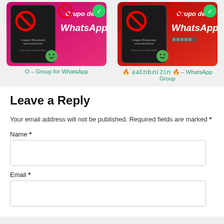[Figure (screenshot): WhatsApp group thumbnail image on pink/magenta background with blocked image icon and smiley face]
O – Group for WhatsApp
[Figure (screenshot): WhatsApp group thumbnail image on red background with blocked image icon and smiley face]
🔥 𝕒𝕒Σ𝕟𝕓𝕟𝕚 21𝕟 🔥 – WhatsApp Group
Leave a Reply
Your email address will not be published. Required fields are marked *
Name *
Email *